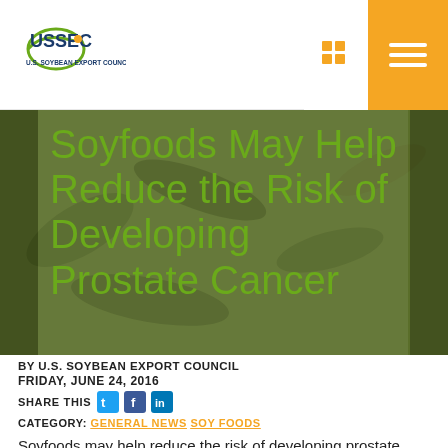USSEC U.S. Soybean Export Council
Soyfoods May Help Reduce the Risk of Developing Prostate Cancer
BY U.S. SOYBEAN EXPORT COUNCIL
FRIDAY, JUNE 24, 2016
SHARE THIS
CATEGORY: GENERAL NEWS SOY FOODS
Soyfoods may help reduce the risk of developing prostate cancer - the most common cancer among U.S. men. Clinical and epidemiologic